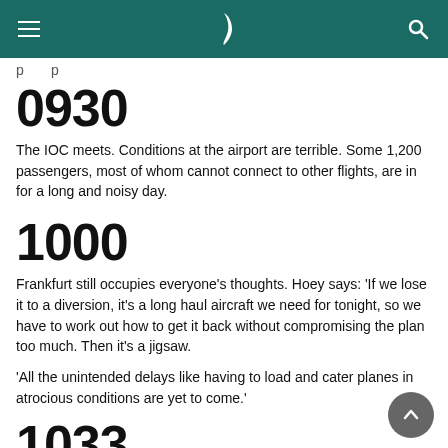Cathay Pacific navigation header with menu, logo, and search
p p
0930
The IOC meets. Conditions at the airport are terrible. Some 1,200 passengers, most of whom cannot connect to other flights, are in for a long and noisy day.
1000
Frankfurt still occupies everyone’s thoughts. Hoey says: ‘If we lose it to a diversion, it’s a long haul aircraft we need for tonight, so we have to work out how to get it back without compromising the plan too much. Then it’s a jigsaw.
‘All the unintended delays like having to load and cater planes in atrocious conditions are yet to come.’
1033